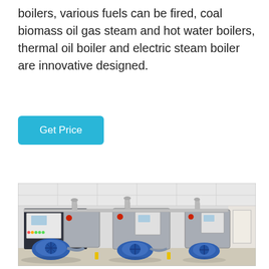boilers, various fuels can be fired, coal biomass oil gas steam and hot water boilers, thermal oil boiler and electric steam boiler are innovative designed.
[Figure (other): Button labeled 'Get Price' with cyan/teal background color]
[Figure (photo): Industrial boiler room showing three steam boilers with blue burners/blowers, control panels, piping, and yellow safety markers on the floor. Room has white ceiling tiles and white walls.]